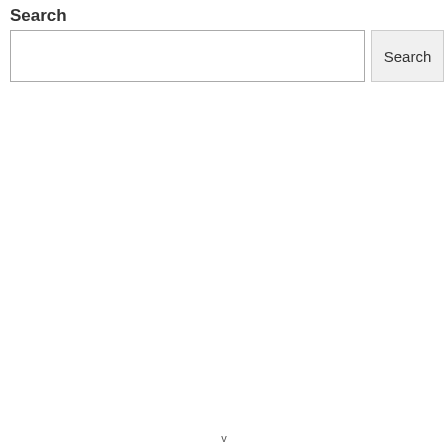Search
[Figure (screenshot): A search bar UI element consisting of a text input field and a Search button]
v